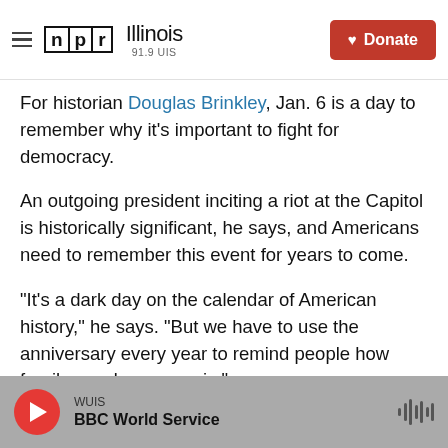NPR Illinois 91.9 UIS | Donate
For historian Douglas Brinkley, Jan. 6 is a day to remember why it’s important to fight for democracy.
An outgoing president inciting a riot at the Capitol is historically significant, he says, and Americans need to remember this event for years to come.
“It’s a dark day on the calendar of American history,” he says. “But we have to use the anniversary every year to remind people how fragile our democracy is.”
Brinkley joined Here & Now during the insurrection
WUIS
BBC World Service